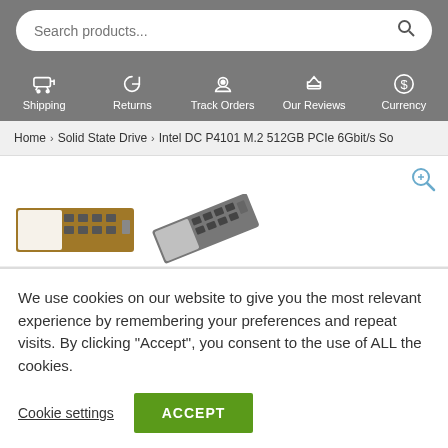Search products... [search bar with magnifier icon]
Shipping | Returns | Track Orders | Our Reviews | Currency
Home > Solid State Drive > Intel DC P4101 M.2 512GB PCIe 6Gbit/s So
[Figure (photo): Two M.2 SSD product thumbnail images with a magnifier icon in the top right corner]
We use cookies on our website to give you the most relevant experience by remembering your preferences and repeat visits. By clicking “Accept”, you consent to the use of ALL the cookies.
Cookie settings   ACCEPT